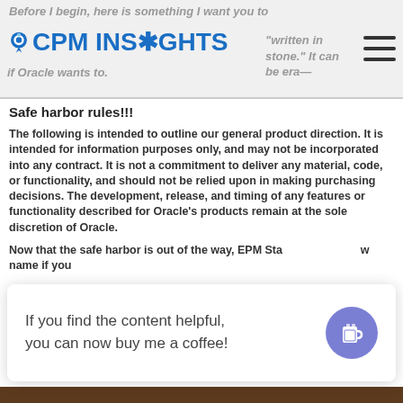Before I begin, here is something I want you to "written in stone." It can be erased if Oracle wants to.
[Figure (logo): CPM Insights logo with blue compass/location pin icon and blue bold text CPM INSIGHTS]
Safe harbor rules!!!
The following is intended to outline our general product direction. It is intended for information purposes only, and may not be incorporated into any contract. It is not a commitment to deliver any material, code, or functionality, and should not be relied upon in making purchasing decisions. The development, release, and timing of any features or functionality described for Oracle’s products remain at the sole discretion of Oracle.
Now that the safe harbor is out of the way, EPM Sta... w name if you...
If you find the content helpful, you can now buy me a coffee!